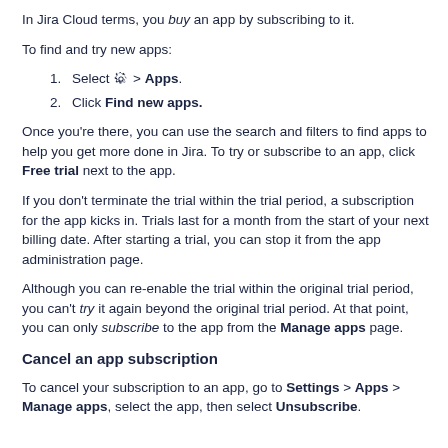In Jira Cloud terms, you buy an app by subscribing to it.
To find and try new apps:
1. Select [gear icon] > Apps.
2. Click Find new apps.
Once you're there, you can use the search and filters to find apps to help you get more done in Jira. To try or subscribe to an app, click Free trial next to the app.
If you don't terminate the trial within the trial period, a subscription for the app kicks in. Trials last for a month from the start of your next billing date. After starting a trial, you can stop it from the app administration page.
Although you can re-enable the trial within the original trial period, you can't try it again beyond the original trial period. At that point, you can only subscribe to the app from the Manage apps page.
Cancel an app subscription
To cancel your subscription to an app, go to Settings > Apps > Manage apps, select the app, then select Unsubscribe.